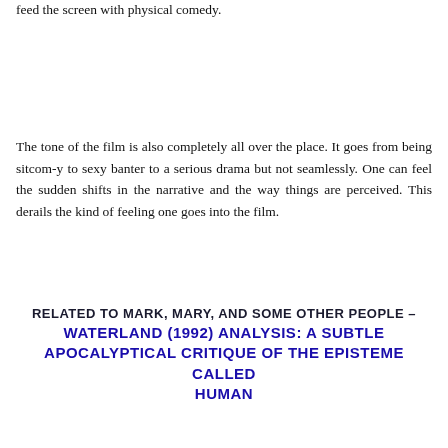feed the screen with physical comedy.
The tone of the film is also completely all over the place. It goes from being sitcom-y to sexy banter to a serious drama but not seamlessly. One can feel the sudden shifts in the narrative and the way things are perceived. This derails the kind of feeling one goes into the film.
RELATED TO MARK, MARY, AND SOME OTHER PEOPLE – WATERLAND (1992) ANALYSIS: A SUBTLE APOCALYPTICAL CRITIQUE OF THE EPISTEME CALLED HUMAN